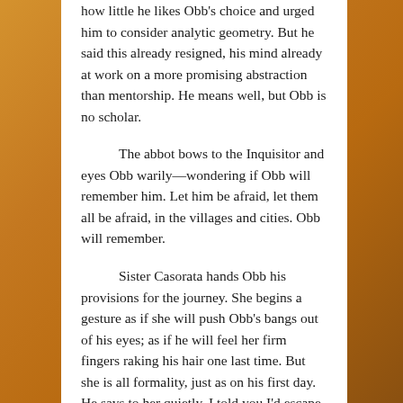how little he likes Obb's choice and urged him to consider analytic geometry. But he said this already resigned, his mind already at work on a more promising abstraction than mentorship. He means well, but Obb is no scholar.

The abbot bows to the Inquisitor and eyes Obb warily—wondering if Obb will remember him. Let him be afraid, let them all be afraid, in the villages and cities. Obb will remember.

Sister Casorata hands Obb his provisions for the journey. She begins a gesture as if she will push Obb's bangs out of his eyes; as if he will feel her firm fingers raking his hair one last time. But she is all formality, just as on his first day. He says to her quietly, I told you I'd escape.

Neither the Inquisitor nor the dervish say anything to Obb as he climbs into the carriage. The